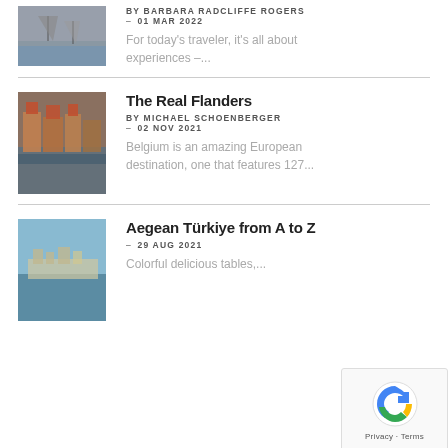[Figure (photo): Boats on water at dusk]
BY BARBARA RADCLIFFE ROGERS – 01 MAR 2022
For today's traveler, it's all about experiences –...
The Real Flanders
[Figure (photo): Historic buildings along a canal in Flanders, Belgium]
BY MICHAEL SCHOENBERGER – 02 NOV 2021
Belgium is an amazing European destination, one that features 127...
Aegean Türkiye from A to Z
[Figure (photo): Colorful harbor view in Aegean Turkey]
– 29 AUG 2021
Colorful delicious tables,...